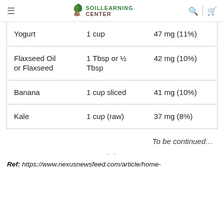SOIL LEARNING CENTER
| Food | Serving | Amount |
| --- | --- | --- |
| Yogurt | 1 cup | 47 mg (11%) |
| Flaxseed Oil or Flaxseed | 1 Tbsp or ½ Tbsp | 42 mg (10%) |
| Banana | 1 cup sliced | 41 mg (10%) |
| Kale | 1 cup (raw) | 37 mg (8%) |
To be continued…
Ref: https://www.nexusnewsfeed.com/article/home-